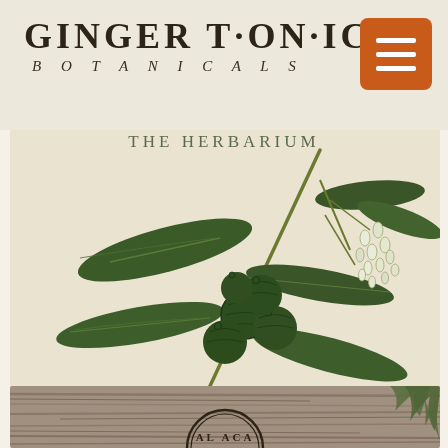GINGER TONIC BOTANICALS
[Figure (illustration): Botanical illustration showing dark green plant with large ovate leaves, clusters of round green berries/fruits, and small white flower buds on a creamy/off-white background with faded text 'THE HERBARIUM' at top]
[Figure (photo): Photo of wooden planks surface with a circular stamp/badge partially visible reading 'AL ACA' and green foliage/herbs on the right edge]